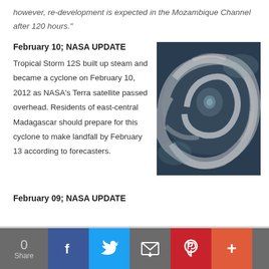however, re-development is expected in the Mozambique Channel after 120 hours."
February 10; NASA UPDATE
Tropical Storm 12S built up steam and became a cyclone on February 10, 2012 as NASA's Terra satellite passed overhead. Residents of east-central Madagascar should prepare for this cyclone to make landfall by February 13 according to forecasters.
[Figure (photo): Satellite image of Tropical Storm 12S / cyclone over the Indian Ocean, taken by NASA's Terra satellite on February 10, 2012. The image shows a spiral cyclone with a visible eye, in black and white.]
February 09; NASA UPDATE
0 Share | Facebook | Twitter | Email | Pinterest | More